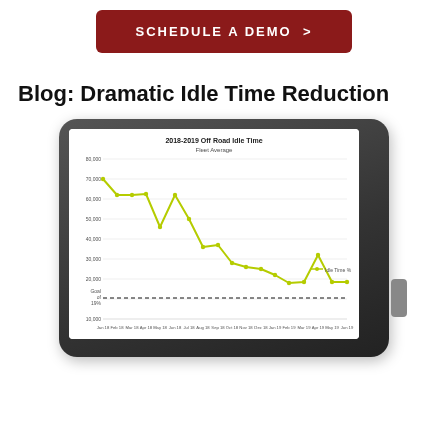[Figure (other): Dark red rounded button with white bold text: SCHEDULE A DEMO >]
Blog: Dramatic Idle Time Reduction
[Figure (line-chart): Line chart on a tablet device showing 2018-2019 Off Road Idle Time, Fleet Average. Yellow-green line trending downward from ~70,000 to ~18,500. A dashed horizontal black line labeled 'Goal of 19%' crosses near the bottom.]